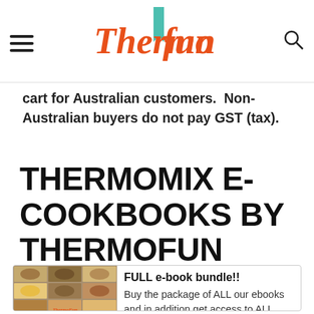ThermoFun
cart for Australian customers. Non-Australian buyers do not pay GST (tax).
THERMOMIX E-COOKBOOKS BY THERMOFUN
[Figure (photo): Collage of food dish photos with ThermoFun branding]
FULL e-book bundle!! Buy the package of ALL our ebooks and in addition get access to ALL member only